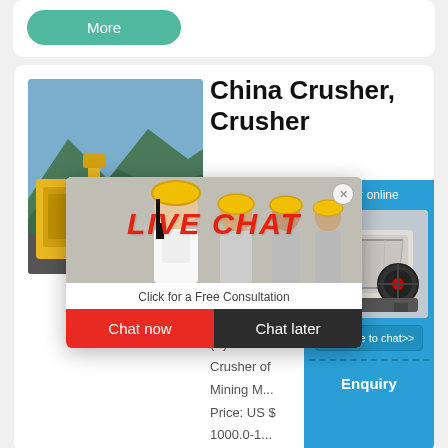[Figure (screenshot): Top card with a green 'More' button]
[Figure (photo): Product image of a yellow mining crusher machine in outdoor setting]
China Crusher, Crusher
[Figure (screenshot): Live chat popup overlay showing workers in hard hats with LIVE CHAT text in red italic, subtitle 'Click for a Free Consultation', and two buttons: 'Chat now' (red) and 'Chat later' (dark)]
[Figure (screenshot): Right blue panel showing 'hour online', crusher machine image, 'Click me to chat>>' button, dashed separator, and 'Enquiry' button]
Sponsored product
Top Quality PE (X) St
Crusher of Mining M
Price: US $ 1000.0-1
Min. Order: 1 Set, To
Stone Rock Jaw Cru